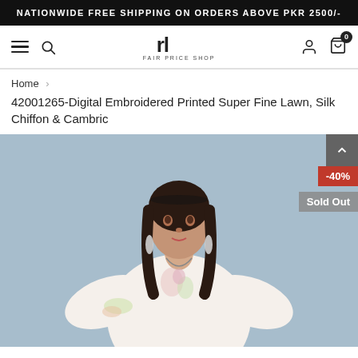NATIONWIDE FREE SHIPPING ON ORDERS ABOVE PKR 2500/-
[Figure (screenshot): Website navigation bar with hamburger menu, search icon, rl FAIR PRICE SHOP logo, user icon, and cart icon with badge 0]
Home >
42001265-Digital Embroidered Printed Super Fine Lawn, Silk Chiffon & Cambric
[Figure (photo): Female model wearing a white floral embroidered lawn dress with silk chiffon dupatta, standing against a light blue background. Discount badge -40% and Sold Out label visible in top right corner.]